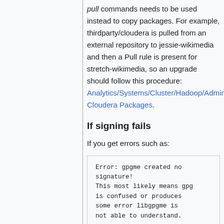pull commands needs to be used instead to copy packages. For example, thirdparty/cloudera is pulled from an external repository to jessie-wikimedia and then a Pull rule is present for stretch-wikimedia, so an upgrade should follow this procedure: Analytics/Systems/Cluster/Hadoop/Administ... Cloudera Packages.
If signing fails
If you get errors such as:
Error: gpgme created no signature!
This most likely means gpg is confused or produces some error libgpgme is not able to understand.